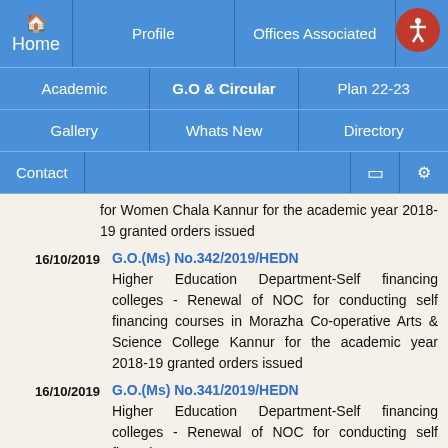[Figure (screenshot): Website navigation menu bar with blue background containing: Home (with house icon), Profile, Offices Associated, Academic, G.O & Circular, Plan 22-23, Gallery, Whats New, Directory, Contact, and icons for mobile and settings. Red accessibility icon in top right.]
for Women Chala Kannur for the academic year 2018-19 granted orders issued
16/10/2019
G.O.(Ms) No.342/2019/HEDN
Higher Education Department-Self financing colleges - Renewal of NOC for conducting self financing courses in Morazha Co-operative Arts & Science College Kannur for the academic year 2018-19 granted orders issued
16/10/2019
G.O.(Ms) No.341/2019/HEDN
Higher Education Department-Self financing colleges - Renewal of NOC for conducting self financing courses